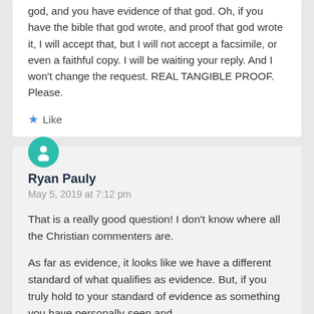god, and you have evidence of that god. Oh, if you have the bible that god wrote, and proof that god wrote it, I will accept that, but I will not accept a facsimile, or even a faithful copy. I will be waiting your reply. And I won't change the request. REAL TANGIBLE PROOF.
Please.
Like
Ryan Pauly
May 5, 2019 at 7:12 pm
That is a really good question! I don't know where all the Christian commenters are.
As far as evidence, it looks like we have a different standard of what qualifies as evidence. But, if you truly hold to your standard of evidence as something you have personally seen and